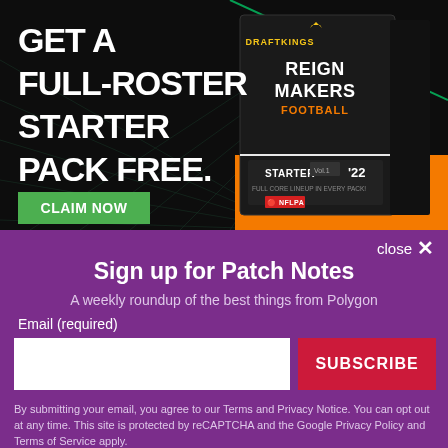[Figure (illustration): DraftKings Reign Makers Football advertisement. Dark background with grid lines. Large white bold text reads 'GET A FULL-ROSTER STARTER PACK FREE.' Green button says 'CLAIM NOW'. Right side shows a product box labeled 'DraftKings Reign Makers Football Starter Vol.1 22' with orange accent at bottom. NFLPA logo visible.]
close ×
Sign up for Patch Notes
A weekly roundup of the best things from Polygon
Email (required)
SUBSCRIBE
By submitting your email, you agree to our Terms and Privacy Notice. You can opt out at any time. This site is protected by reCAPTCHA and the Google Privacy Policy and Terms of Service apply.